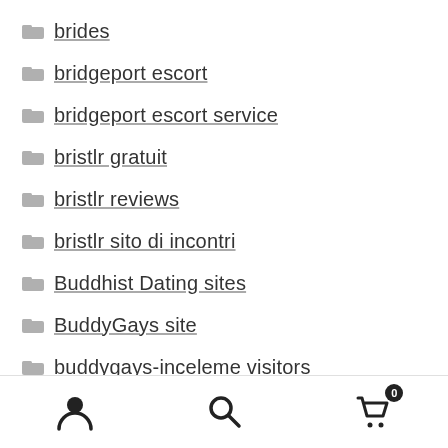brides
bridgeport escort
bridgeport escort service
bristlr gratuit
bristlr reviews
bristlr sito di incontri
Buddhist Dating sites
BuddyGays site
buddygays-inceleme visitors
bulgaria-dating review